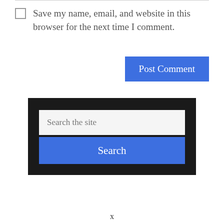Save my name, email, and website in this browser for the next time I comment.
[Figure (screenshot): Blue 'Post Comment' button on white background]
[Figure (screenshot): Search widget with dark background containing a text input field with placeholder 'Search the site' and a blue 'Search' button below it]
x